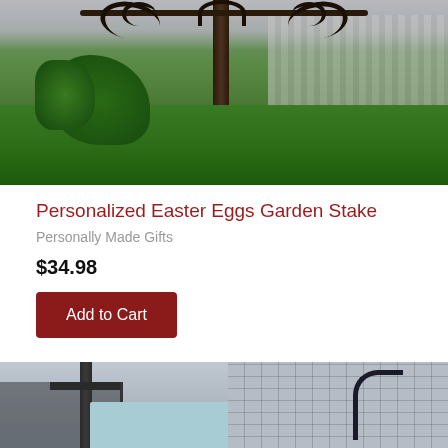[Figure (photo): Photo of a personalized garden stake with decorative scrollwork ironwork in a backyard setting with green plants and grass, white fence visible in background]
Personalized Easter Eggs Garden Stake
Personally Made Gifts
$34.98
Add to Cart
[Figure (photo): Partial photo of another garden stake product with a blue sign panel, shown in a suburban outdoor setting]